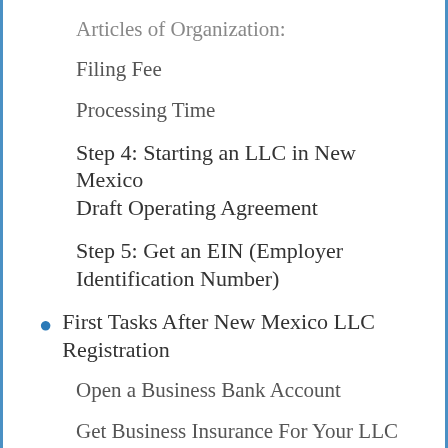Articles of Organization:
Filing Fee
Processing Time
Step 4: Starting an LLC in New Mexico Draft Operating Agreement
Step 5: Get an EIN (Employer Identification Number)
First Tasks After New Mexico LLC Registration
Open a Business Bank Account
Get Business Insurance For Your LLC
Keep Your New Mexico Company Compliant